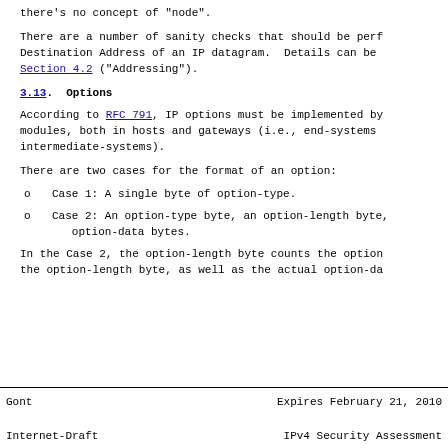there's no concept of "node".
There are a number of sanity checks that should be performed on the Destination Address of an IP datagram.  Details can be found in Section 4.2 ("Addressing").
3.13.  Options
According to RFC 791, IP options must be implemented by all IP modules, both in hosts and gateways (i.e., end-systems and intermediate-systems).
There are two cases for the format of an option:
o  Case 1: A single byte of option-type.
o  Case 2: An option-type byte, an option-length byte, and the actual option-data bytes.
In the Case 2, the option-length byte counts the option-type byte and the option-length byte, as well as the actual option-data bytes.
Gont                     Expires February 21, 2010
Internet-Draft           IPv4 Security Assessment